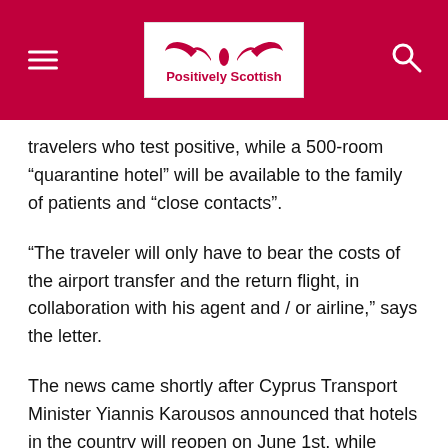[Figure (logo): Positively Scottish logo with stylized wing/bird mark above the text in red on white background, set within the crimson header bar with hamburger menu on left and search icon on right]
travelers who test positive, while a 500-room “quarantine hotel” will be available to the family of patients and “close contacts”.
“The traveler will only have to bear the costs of the airport transfer and the return flight, in collaboration with his agent and / or airline,” says the letter.
The news came shortly after Cyprus Transport Minister Yiannis Karousos announced that hotels in the country will reopen on June 1st, while international air travel will resume on June 9th.
Once the destination is reopened, visitors from only the chosen countries will be able to enter.